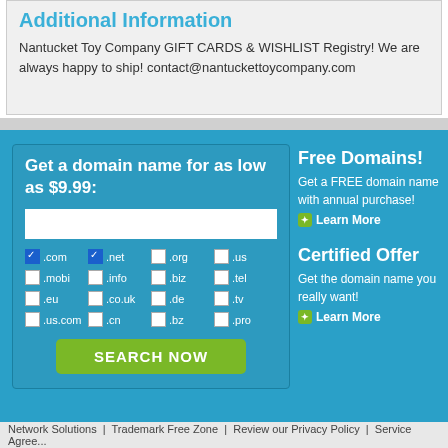Additional Information
Nantucket Toy Company GIFT CARDS & WISHLIST Registry! We are always happy to ship! contact@nantuckettoycompany.com
Get a domain name for as low as $9.99:
.com (checked) .net (checked) .org .us .mobi .info .biz .tel .eu .co.uk .de .tv .us.com .cn .bz .pro
SEARCH NOW
Free Domains!
Get a FREE domain name with annual purchase!
Learn More
Certified Offer
Get the domain name you really want!
Learn More
Network Solutions   Trademark Free Zone   Review our Privacy Policy   Service Agree...